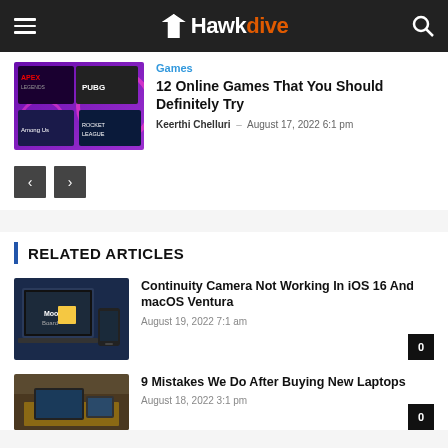Hawkdive
[Figure (screenshot): Games thumbnail with Apex Legends, PUBG, Among Us, Rocket League logos on purple background]
Games
12 Online Games That You Should Definitely Try
Keerthi Chelluri – August 17, 2022 6:1 pm
RELATED ARTICLES
[Figure (screenshot): Laptop and phone showing macOS/iOS Continuity Camera feature]
Continuity Camera Not Working In iOS 16 And macOS Ventura
August 19, 2022 7:1 am
[Figure (photo): Laptops on a desk]
9 Mistakes We Do After Buying New Laptops
August 18, 2022 3:1 pm